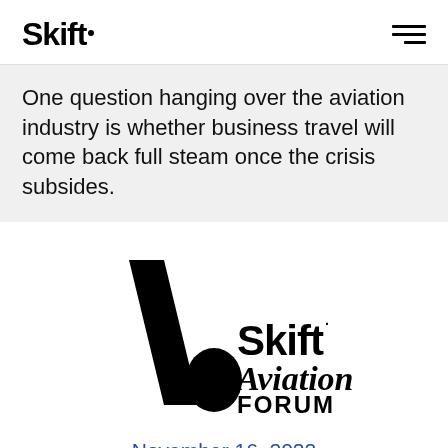Skift
One question hanging over the aviation industry is whether business travel will come back full steam once the crisis subsides.
[Figure (logo): Skift Aviation Forum logo — a stylized letter A formed by a tall diagonal slash and a rounded teardrop shape, alongside the text 'Skift: Aviation FORUM']
November 16, 2022
Dallas-Fort Worth, TX and Online